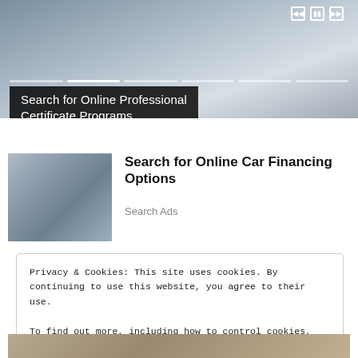[Figure (screenshot): Top banner showing a person in a suit holding a tablet, with video playback controls and progress bar segments. Black overlay box with white text reading 'Search for Online Professional Certificate Programs'.]
Search for Online Professional Certificate Programs
[Figure (photo): Photo of a smiling woman sitting in a car dealership, writing on paperwork, with a car visible in the background.]
Search for Online Car Financing Options
Search Ads
Privacy & Cookies: This site uses cookies. By continuing to use this website, you agree to their use.
To find out more, including how to control cookies, see here: Cookie Policy
Close and accept
[Figure (photo): Partial bottom strip photo, partially visible at the bottom of the page.]